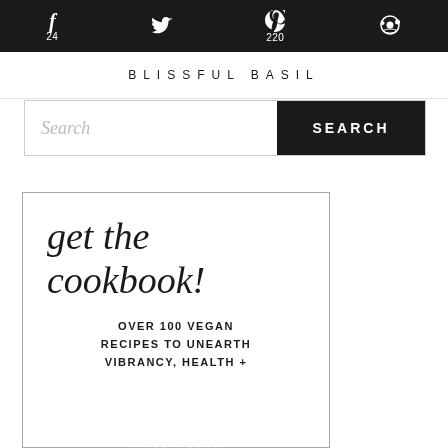f 24  [twitter icon]  p 220  [reddit icon]
BLISSFUL BASIL
Search  SEARCH
[Figure (infographic): Cookbook advertisement box with italic serif text 'get the cookbook!' and subtext 'OVER 100 VEGAN RECIPES TO UNEARTH VIBRANCY, HEALTH + HAPPINESS!' and a BUY NOW button]
HAPPINESS!
BUY NOW!